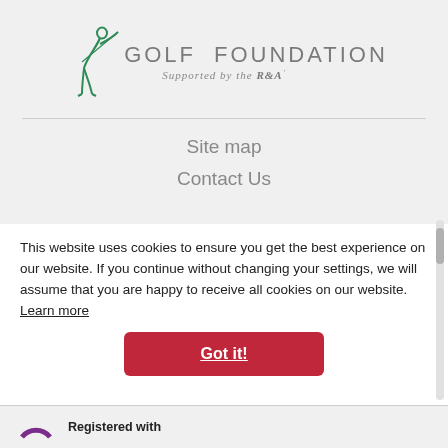[Figure (logo): Golf Foundation logo with stylized golfer figure in green, text 'GOLF FOUNDATION' in grey, tagline 'Supported by the R&A' in italic grey]
Site map
Contact Us
This website uses cookies to ensure you get the best experience on our website. If you continue without changing your settings, we will assume that you are happy to receive all cookies on our website. Learn more
Got it!
Registered with